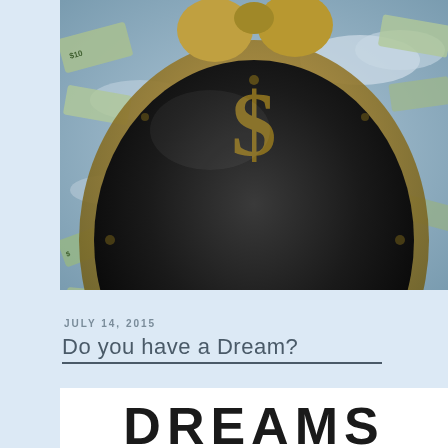[Figure (photo): Close-up fisheye photo of a dark clock face with a dollar sign symbol in the center, surrounded by flying US dollar bills against a cloudy sky background]
JULY 14, 2015
Do you have a Dream?
[Figure (photo): White background with large bold uppercase text reading DREAMS (partially visible, cut off at bottom of page)]